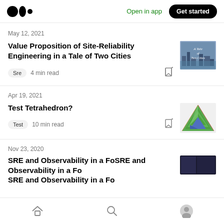Medium app header with logo, Open in app link, Get started button
May 12, 2021
Value Proposition of Site-Reliability Engineering in a Tale of Two Cities
Sre  4 min read
[Figure (illustration): Book cover thumbnail: A Tale of Two Cities]
Apr 19, 2021
Test Tetrahedron?
Test  10 min read
[Figure (illustration): Tetrahedron diagram thumbnail in green and blue]
Nov 23, 2020
SRE and Observability in a...
[Figure (screenshot): Dark thumbnail partially visible]
Bottom navigation: Home, Search, Profile